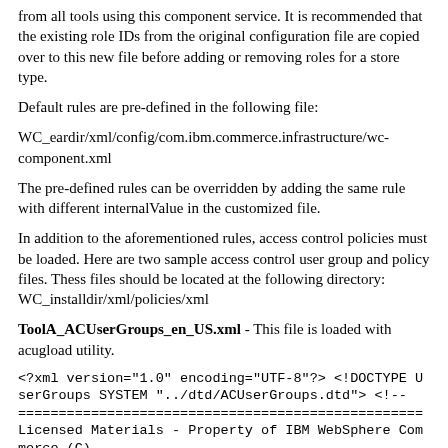from all tools using this component service. It is recommended that the existing role IDs from the original configuration file are copied over to this new file before adding or removing roles for a store type.
Default rules are pre-defined in the following file:
WC_eardir/xml/config/com.ibm.commerce.infrastructure/wc-component.xml
The pre-defined rules can be overridden by adding the same rule with different internalValue in the customized file.
In addition to the aforementioned rules, access control policies must be loaded. Here are two sample access control user group and policy files. Thess files should be located at the following directory: WC_installdir/xml/policies/xml
ToolA_ACUserGroups_en_US.xml - This file is loaded with acugload utility.
<?xml version="1.0" encoding="UTF-8"?> <!DOCTYPE UserGroups SYSTEM "../dtd/ACUserGroups.dtd"> <!-- ================================================== Licensed Materials - Property of IBM WebSphere Commerce (C)